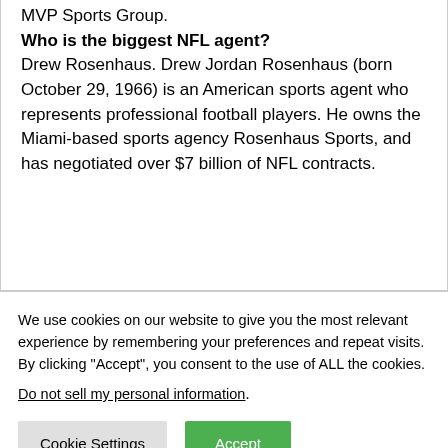MVP Sports Group. Who is the biggest NFL agent? Drew Rosenhaus. Drew Jordan Rosenhaus (born October 29, 1966) is an American sports agent who represents professional football players. He owns the Miami-based sports agency Rosenhaus Sports, and has negotiated over $7 billion of NFL contracts.
We use cookies on our website to give you the most relevant experience by remembering your preferences and repeat visits. By clicking “Accept”, you consent to the use of ALL the cookies.
Do not sell my personal information.